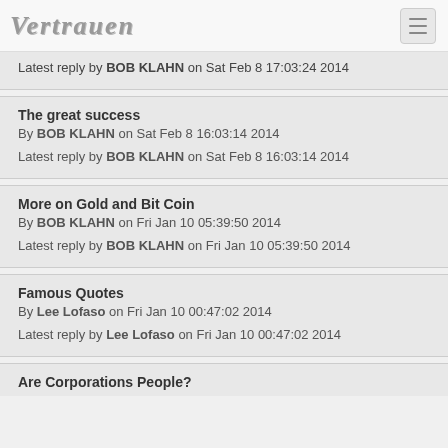Vertrauen
Latest reply by BOB KLAHN on Sat Feb 8 17:03:24 2014
The great success
By BOB KLAHN on Sat Feb 8 16:03:14 2014
Latest reply by BOB KLAHN on Sat Feb 8 16:03:14 2014
More on Gold and Bit Coin
By BOB KLAHN on Fri Jan 10 05:39:50 2014
Latest reply by BOB KLAHN on Fri Jan 10 05:39:50 2014
Famous Quotes
By Lee Lofaso on Fri Jan 10 00:47:02 2014
Latest reply by Lee Lofaso on Fri Jan 10 00:47:02 2014
Are Corporations People?